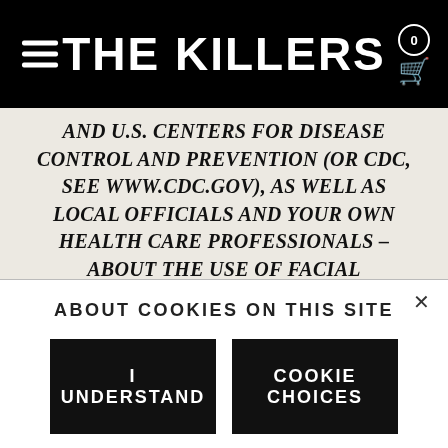THE KILLERS
AND U.S. CENTERS FOR DISEASE CONTROL AND PREVENTION (OR CDC, SEE WWW.CDC.GOV), AS WELL AS LOCAL OFFICIALS AND YOUR OWN HEALTH CARE PROFESSIONALS – ABOUT THE USE OF FACIAL COVERINGS.  AS OF APRIL 10, 2020, CDC NOTES THE FOLLOWING WITH RESPECT TO CLOTH FACE COVERINGS:
• CLOTH FACE COVERINGS ARE NOT SURGICAL MASKS OR N-95 RESPIRATORS;
ABOUT COOKIES ON THIS SITE
I UNDERSTAND
COOKIE CHOICES